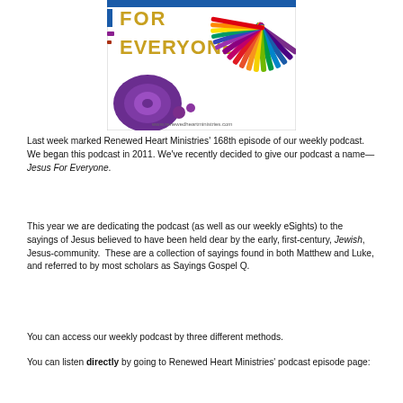[Figure (illustration): Jesus For Everyone podcast cover image with rainbow sunburst design, purple speaker, and text 'FOR EVERYONE' in gold. URL www.renewedheartministries.com shown at bottom.]
Last week marked Renewed Heart Ministries' 168th episode of our weekly podcast.  We began this podcast in 2011. We've recently decided to give our podcast a name—Jesus For Everyone.
This year we are dedicating the podcast (as well as our weekly eSights) to the sayings of Jesus believed to have been held dear by the early, first-century, Jewish, Jesus-community.  These are a collection of sayings found in both Matthew and Luke, and referred to by most scholars as Sayings Gospel Q.
You can access our weekly podcast by three different methods.
You can listen directly by going to Renewed Heart Ministries' podcast episode page: